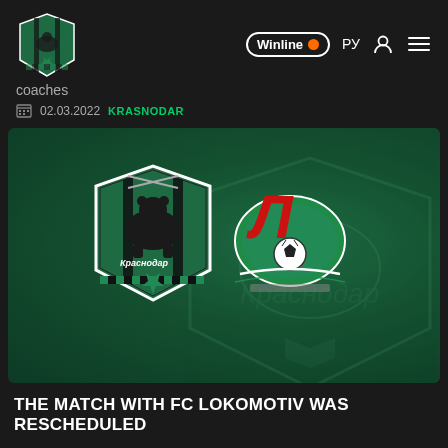coaches | Winline | РУ
coaches
02.03.2022  KRASNODAR
[Figure (illustration): FC Krasnodar and FC Lokomotiv club badges side by side on a dark green background with faded Krasnodar watermark crest]
THE MATCH WITH FC LOKOMOTIV WAS RESCHEDULED